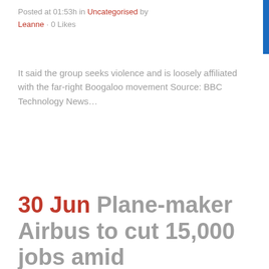Posted at 01:53h in Uncategorised by Leanne · 0 Likes
It said the group seeks violence and is loosely affiliated with the far-right Boogaloo movement Source: BBC Technology News...
Read More
30 Jun Plane-maker Airbus to cut 15,000 jobs amid coronavirus fallout